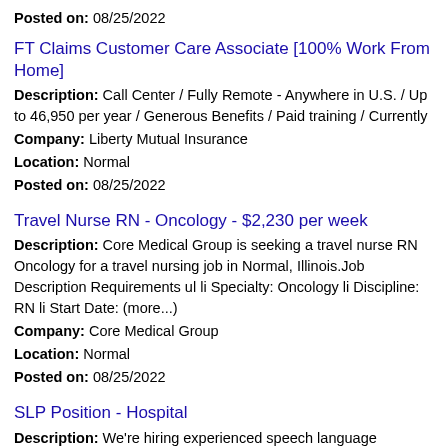Posted on: 08/25/2022
FT Claims Customer Care Associate [100% Work From Home]
Description: Call Center / Fully Remote - Anywhere in U.S. / Up to 46,950 per year / Generous Benefits / Paid training / Currently
Company: Liberty Mutual Insurance
Location: Normal
Posted on: 08/25/2022
Travel Nurse RN - Oncology - $2,230 per week
Description: Core Medical Group is seeking a travel nurse RN Oncology for a travel nursing job in Normal, Illinois.Job Description Requirements ul li Specialty: Oncology li Discipline: RN li Start Date: (more...)
Company: Core Medical Group
Location: Normal
Posted on: 08/25/2022
SLP Position - Hospital
Description: We're hiring experienced speech language pathologists for a contract position at an area facility with immediate openings. Not sure what a Traveling SLP is Click here for a quick overview. Minimum Qualifications: (more...)